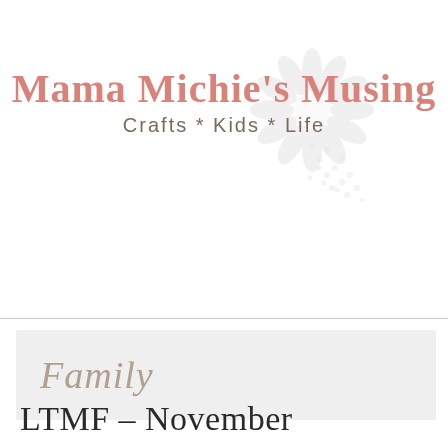[Figure (logo): Decorative flower/leaf logo in light gray, overlapping with site title]
Mama Michie's Musing
Crafts * Kids * Life
Family
LTMF – November